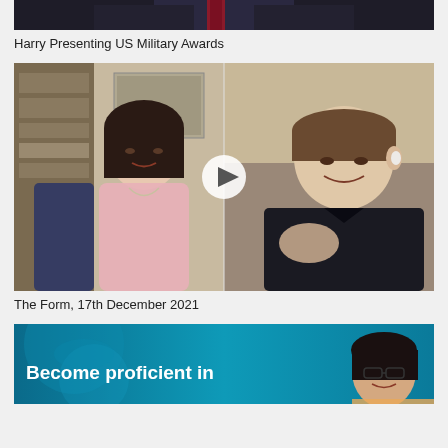[Figure (photo): Top portion of a photo showing Harry presenting US Military Awards - person in suit visible from chest down]
Harry Presenting US Military Awards
[Figure (photo): Split-screen video thumbnail showing a woman in a pink top on the left and a man in a dark jacket on the right, with a play button in the center. Title: The Form, 17th December 2021]
The Form, 17th December 2021
[Figure (photo): Teal/blue promotional image with text 'Become proficient in' and a woman with glasses visible on the right side]